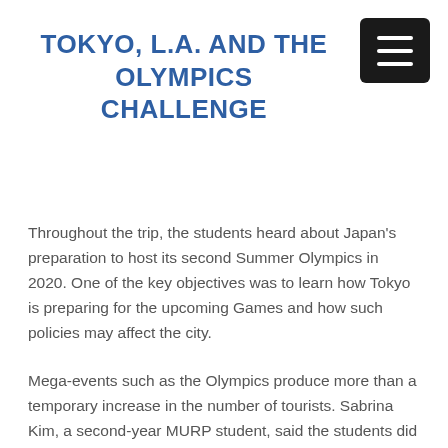TOKYO, L.A. AND THE OLYMPICS CHALLENGE
Throughout the trip, the students heard about Japan's preparation to host its second Summer Olympics in 2020. One of the key objectives was to learn how Tokyo is preparing for the upcoming Games and how such policies may affect the city.
Mega-events such as the Olympics produce more than a temporary increase in the number of tourists. Sabrina Kim, a second-year MURP student, said the students did research before the trip that showed that hosting an Olympic Games greatly impacts...